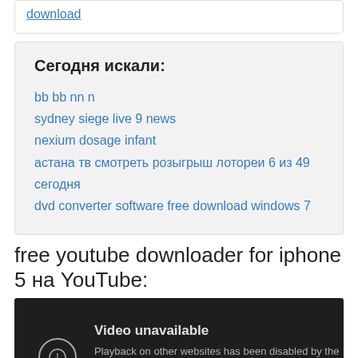download
Сегодня искали:
bb bb nn n
sydney siege live 9 news
nexium dosage infant
астана тв смотреть розыгрыш лотореи 6 из 49 сегодня
dvd converter software free download windows 7
free youtube downloader for iphone 5 на YouTube:
[Figure (screenshot): Embedded YouTube video player showing 'Video unavailable' message. Text reads: 'Playback on other websites has been disabled by the video owner. Watch on YouTube']